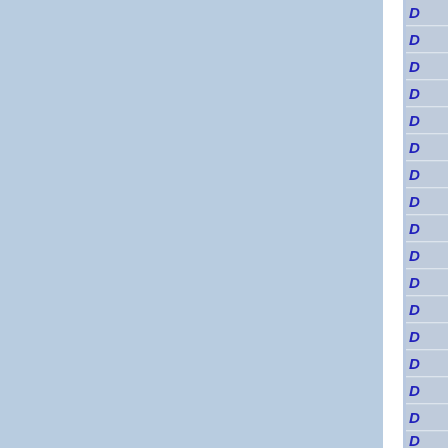[Figure (other): Document interface showing two blue-gray panels separated by a white vertical divider, with a right sidebar containing a vertical list of 'D' letter tabs/icons in blue italic text, each separated by thin white lines.]